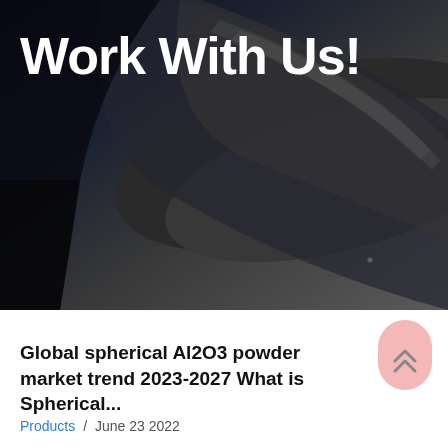[Figure (photo): Dark background hero image with a close-up of a dark tubular or cylindrical object on a dark background, serving as a backdrop for recruitment/work announcement.]
Work With Us!
[Figure (illustration): Mouse scroll icon with downward chevron arrow, white outline on dark background, indicating scroll-down interaction.]
[Figure (illustration): Pink rounded scroll-to-top button with double upward chevron arrows on white background section.]
Global spherical Al2O3 powder market trend 2023-2027 What is Spherical...
Products / June 23 2022